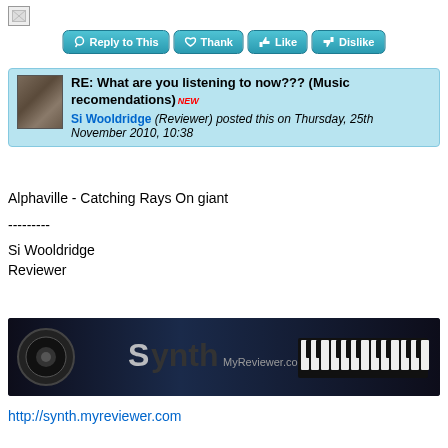[Figure (screenshot): Broken image icon placeholder]
[Figure (screenshot): Action buttons: Reply to This, Thank, Like, Dislike]
RE: What are you listening to now??? (Music recomendations) NEW — Si Wooldridge (Reviewer) posted this on Thursday, 25th November 2010, 10:38
Alphaville - Catching Rays On giant
---------
Si Wooldridge
Reviewer
[Figure (screenshot): Synth MyReviewer.com banner image with keyboard and logo]
http://synth.myreviewer.com